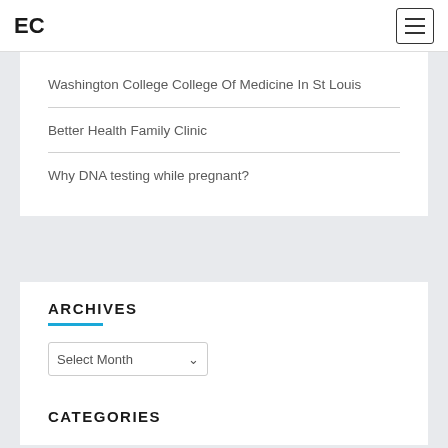EC
Washington College College Of Medicine In St Louis
Better Health Family Clinic
Why DNA testing while pregnant?
ARCHIVES
Select Month
CATEGORIES